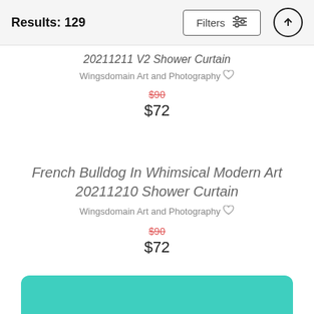Results: 129
20211211 V2 Shower Curtain
Wingsdomain Art and Photography
$90  $72
French Bulldog In Whimsical Modern Art 20211210 Shower Curtain
Wingsdomain Art and Photography
$90  $72